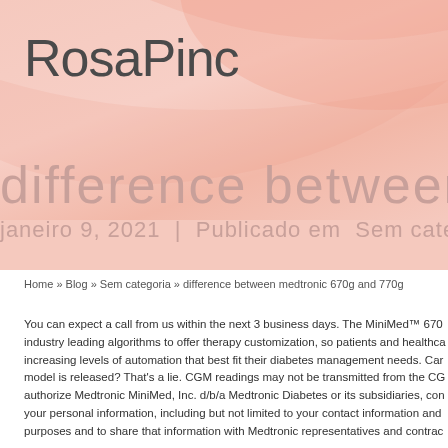RosaPinc
difference between mec
janeiro 9, 2021 | Publicado em Sem catego
Home » Blog » Sem categoria » difference between medtronic 670g and 770g
You can expect a call from us within the next 3 business days. The MiniMed™ 670 industry leading algorithms to offer therapy customization, so patients and healthca increasing levels of automation that best fit their diabetes management needs. Car model is released? That's a lie. CGM readings may not be transmitted from the CG authorize Medtronic MiniMed, Inc. d/b/a Medtronic Diabetes or its subsidiaries, con your personal information, including but not limited to your contact information and purposes and to share that information with Medtronic representatives and contrac